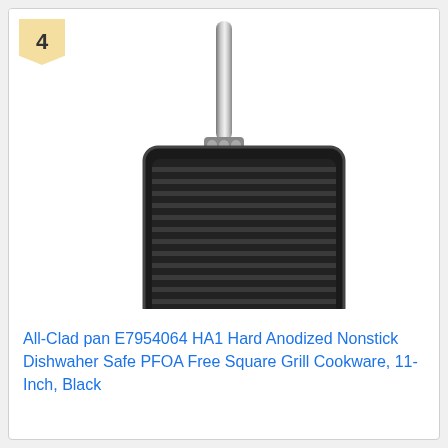4
[Figure (photo): All-Clad square grill pan with ridged black nonstick cooking surface and long stainless steel handle, viewed from above against white background.]
All-Clad pan E7954064 HA1 Hard Anodized Nonstick Dishwaher Safe PFOA Free Square Grill Cookware, 11-Inch, Black